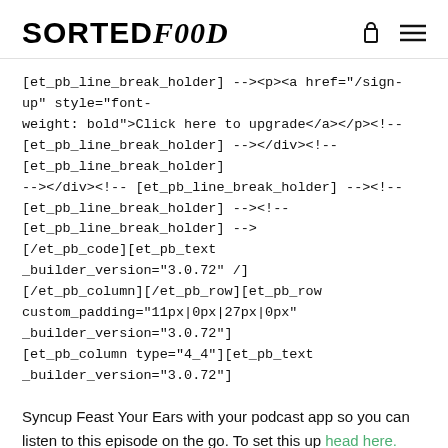SORTED FOOD
[et_pb_line_break_holder] --><p><a href="/sign-up" style="font-weight: bold">Click here to upgrade</a></p><!--[et_pb_line_break_holder] --></div><!--[et_pb_line_break_holder] --></div><!--[et_pb_line_break_holder] --><!--[et_pb_line_break_holder] --><!--[et_pb_line_break_holder] -->[/et_pb_code][et_pb_text _builder_version="3.0.72" /][/et_pb_column][/et_pb_row][et_pb_row custom_padding="11px|0px|27px|0px" _builder_version="3.0.72"][et_pb_column type="4_4"][et_pb_text _builder_version="3.0.72"]
Syncup Feast Your Ears with your podcast app so you can listen to this episode on the go. To set this up head here.
[/et_pb_text][et_pb_image src="https://cdn.sorted.club/wp-content/uploads/2019/01/Podcasts.png"